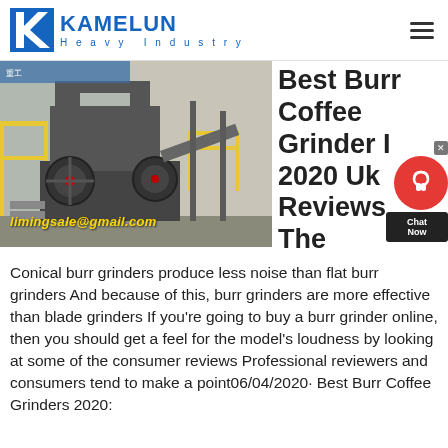KAMELUN Heavy Industry
[Figure (photo): Industrial heavy machinery (jaw crusher) on a multi-level steel structure with yellow railings, outdoors at a facility. Email overlay reads: limingsale@gmail.com]
Best Burr Coffee Grinder I 2020 Uk Reviews The
Conical burr grinders produce less noise than flat burr grinders And because of this, burr grinders are more effective than blade grinders If you're going to buy a burr grinder online, then you should get a feel for the model's loudness by looking at some of the consumer reviews Professional reviewers and consumers tend to make a point06/04/2020· Best Burr Coffee Grinders 2020: